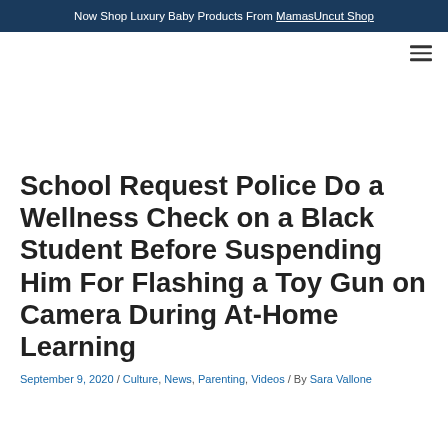Now Shop Luxury Baby Products From MamasUncut Shop
School Request Police Do a Wellness Check on a Black Student Before Suspending Him For Flashing a Toy Gun on Camera During At-Home Learning
September 9, 2020 / Culture, News, Parenting, Videos / By Sara Vallone